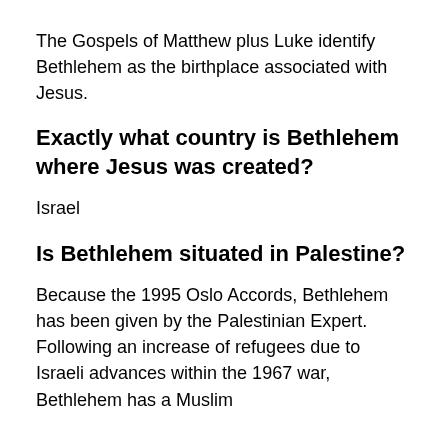The Gospels of Matthew plus Luke identify Bethlehem as the birthplace associated with Jesus.
Exactly what country is Bethlehem where Jesus was created?
Israel
Is Bethlehem situated in Palestine?
Because the 1995 Oslo Accords, Bethlehem has been given by the Palestinian Expert. Following an increase of refugees due to Israeli advances within the 1967 war, Bethlehem has a Muslim